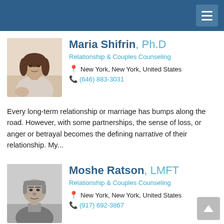Navigation header with hamburger menu
[Figure (photo): Profile photo of Maria Shifrin, a woman with brown hair sitting casually]
Maria Shifrin, Ph.D
Relationship & Couples Counseling
New York, New York, United States
(646) 883-3031
Every long-term relationship or marriage has bumps along the road. However, with some partnerships, the sense of loss, or anger or betrayal becomes the defining narrative of their relationship. My...
[Figure (photo): Black and white profile photo of Moshe Ratson, an older man]
Moshe Ratson, LMFT
Relationship & Couples Counseling
New York, New York, United States
(917) 692-3867